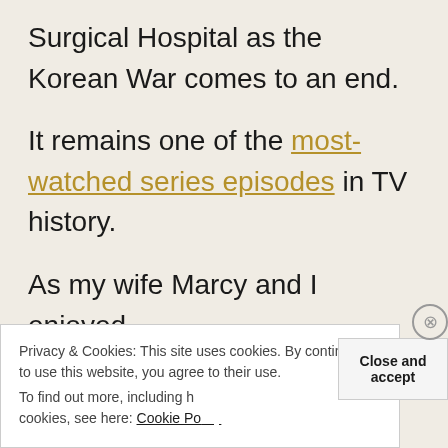Surgical Hospital as the Korean War comes to an end.
It remains one of the most-watched series episodes in TV history.
As my wife Marcy and I enjoyed
Privacy & Cookies: This site uses cookies. By continuing to use this website, you agree to their use.
To find out more, including h
cookies, see here: Cookie Po
Close and accept